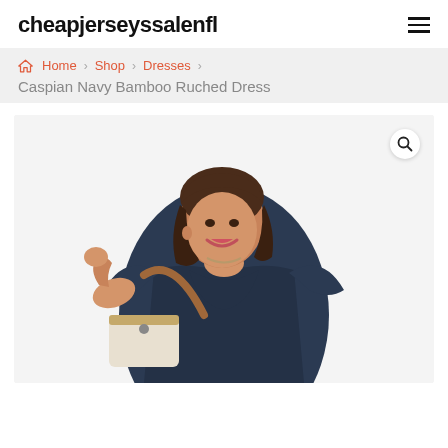cheapjerseyssalenfl
Home > Shop > Dresses >
Caspian Navy Bamboo Ruched Dress
[Figure (photo): Woman wearing a navy blue bamboo ruched dress, smiling, holding a tan leather bag, posed against a white background.]